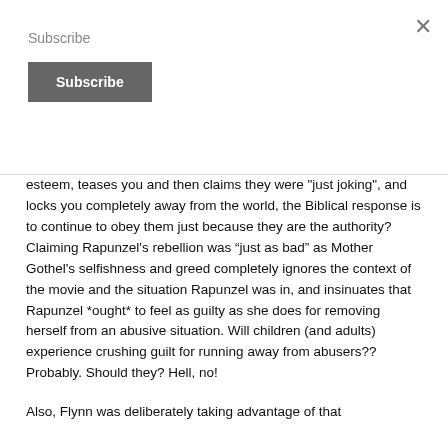Subscribe
esteem, teases you and then claims they were "just joking", and locks you completely away from the world, the Biblical response is to continue to obey them just because they are the authority? Claiming Rapunzel's rebellion was “just as bad” as Mother Gothel's selfishness and greed completely ignores the context of the movie and the situation Rapunzel was in, and insinuates that Rapunzel *ought* to feel as guilty as she does for removing herself from an abusive situation. Will children (and adults) experience crushing guilt for running away from abusers?? Probably. Should they? Hell, no!
Also, Flynn was deliberately taking advantage of that